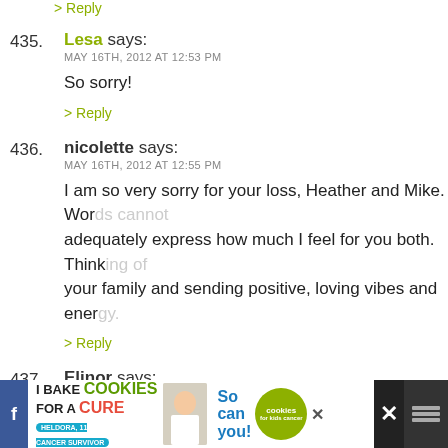> Reply (top, cut off)
435. Lesa says:
MAY 16TH, 2012 AT 12:53 PM
So sorry!
> Reply
436. nicolette says:
MAY 16TH, 2012 AT 12:55 PM
I am so very sorry for your loss, Heather and Mike. Words cannot adequately express how much I feel for you both. Thinking of your family and sending positive, loving vibes and energy.
> Reply
437. Elinor says:
MAY 16TH, 2012 AT 1:04 PM
Oh Heather,
there are no words, but I am so very sorry to read this...
[Figure (screenshot): Advertisement banner at bottom: 'I Bake COOKIES For A CURE' with an image of a girl and text 'So can you!' with a green Cookies for Kids Cancer badge, close button, and social media icons]